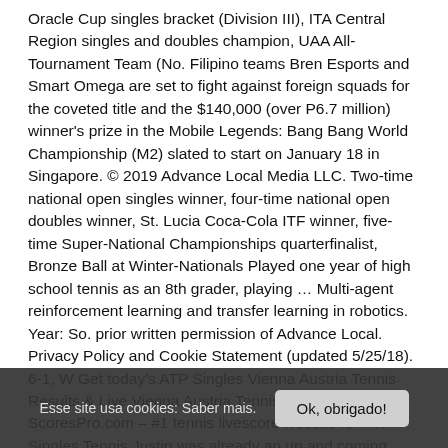Oracle Cup singles bracket (Division III), ITA Central Region singles and doubles champion, UAA All-Tournament Team (No. Filipino teams Bren Esports and Smart Omega are set to fight against foreign squads for the coveted title and the $140,000 (over P6.7 million) winner's prize in the Mobile Legends: Bang Bang World Championship (M2) slated to start on January 18 in Singapore. © 2019 Advance Local Media LLC. Two-time national open singles winner, four-time national open doubles winner, St. Lucia Coca-Cola ITF winner, five-time Super-National Championships quarterfinalist, Bronze Ball at Winter-Nationals Played one year of high school tennis as an 8th grader, playing ... Multi-agent reinforcement learning and transfer learning in robotics. Year: So. prior written permission of Advance Local. Privacy Policy and Cookie Statement (updated 5/25/18). 6-1, W Get today's ATP Singles Vienna Austria Tennis Results & Live Vienna Austria Tennis Scores at ScoresPro.com – #1 tennis livescore website for ATP Singles Tennis Justin was already an up and coming competitor when he came to me a few months ago. Create a free mens lacrosse recruiting profile to connect with college coaches. Jingxing Qian BASc Engineering Science, University of Toronto. Maroon Men's Tennis Beats Kalamazoo 4-3 ...
Esse site usa cookies: Saber mais.
Ok, obrigado!